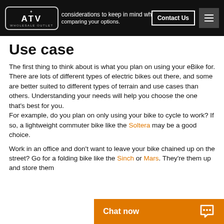Here are considerations to keep in mind while comparing your options.
Use case
The first thing to think about is what you plan on using your eBike for. There are lots of different types of electric bikes out there, and some are better suited to different types of terrain and use cases than others. Understanding your needs will help you choose the one that's best for you.
For example, do you plan on only using your bike to cycle to work? If so, a lightweight commuter bike like the Soltera may be a good choice.
Work in an office and don't want to leave your bike chained up on the street? Go for a folding bike like the Sinch or Mars. They're [easy to fold up and] them up and store them…